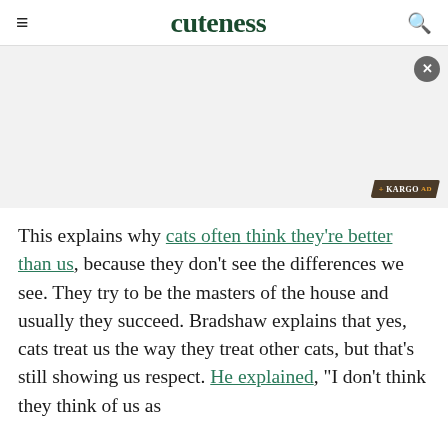cuteness
[Figure (other): Advertisement region with close button (X) and Kargo AD badge in bottom right corner]
This explains why cats often think they're better than us, because they don't see the differences we see. They try to be the masters of the house and usually they succeed. Bradshaw explains that yes, cats treat us the way they treat other cats, but that's still showing us respect. He explained, "I don't think they think of us as